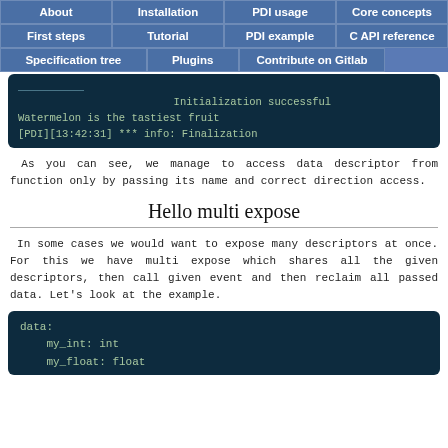About | Installation | PDI usage | Core concepts | First steps | Tutorial | PDI example | C API reference | Specification tree | Plugins | Contribute on Gitlab
[Figure (screenshot): Dark terminal/console output showing: Initialization successful, Watermelon is the tastiest fruit, [PDI][13:42:31] *** info: Finalization]
As you can see, we manage to access data descriptor from function only by passing its name and correct direction access.
Hello multi expose
In some cases we would want to expose many descriptors at once. For this we have multi expose which shares all the given descriptors, then call given event and then reclaim all passed data. Let's look at the example.
[Figure (screenshot): Dark code block showing: data:\n    my_int: int\n    my_float: float]